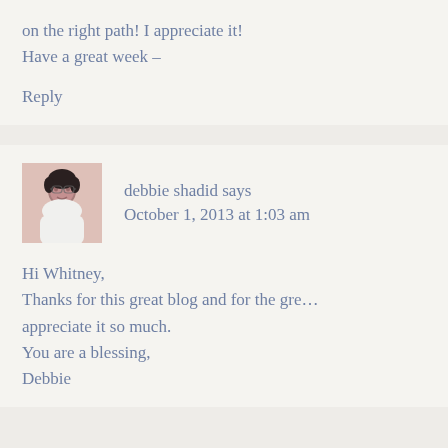on the right path! I appreciate it!
Have a great week –
Reply
debbie shadid says
October 1, 2013 at 1:03 am
Hi Whitney,
Thanks for this great blog and for the gre… appreciate it so much.
You are a blessing,
Debbie